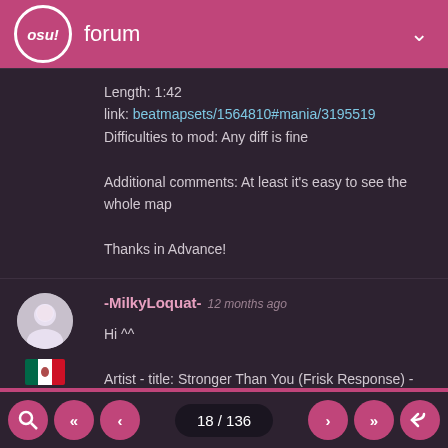osu! forum
Length: 1:42
link: beatmapsets/1564810#mania/3195519
Difficulties to mod: Any diff is fine

Additional comments: At least it's easy to see the whole map

Thanks in Advance!
-MilkyLoquat- 12 months ago

Hi ^^

Artist - title: Stronger Than You (Frisk Response) - Starbeam
Length: 2:28
link: beatmapsets/1568006#mania/3201514
Difficulties to mod: LOVE
Dm when done?: Yes
Additional comments: I want to get better at mapping xd
18 / 136